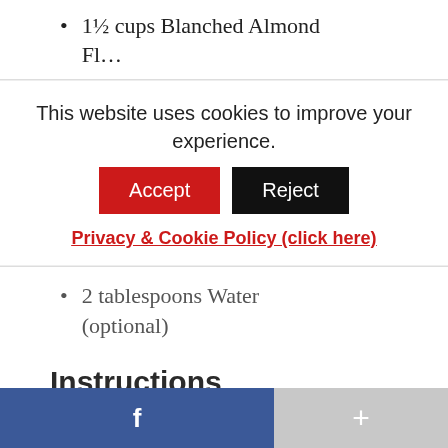1½ cups Blanched Almond Fl…
This website uses cookies to improve your experience.
Accept  Reject
Privacy & Cookie Policy (click here)
2 tablespoons Water (optional)
Instructions
1. Add the almond flour, powdered sugar, and salt to the bowl of the food
f  +